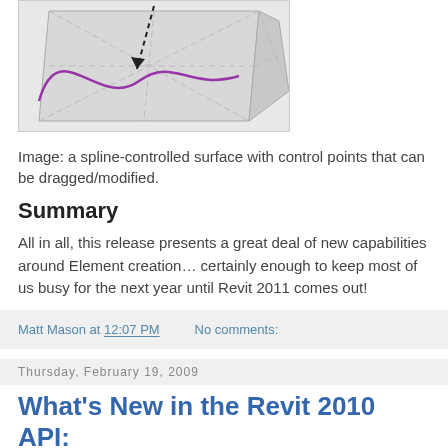[Figure (engineering-diagram): A 3D spline-controlled surface with dashed black arrows indicating control points and a purple/violet spline curve overlaid on a gray polygonal mesh surface.]
Image: a spline-controlled surface with control points that can be dragged/modified.
Summary
All in all, this release presents a great deal of new capabilities around Element creation… certainly enough to keep most of us busy for the next year until Revit 2011 comes out!
Matt Mason at 12:07 PM   No comments:
Thursday, February 19, 2009
What's New in the Revit 2010 API: